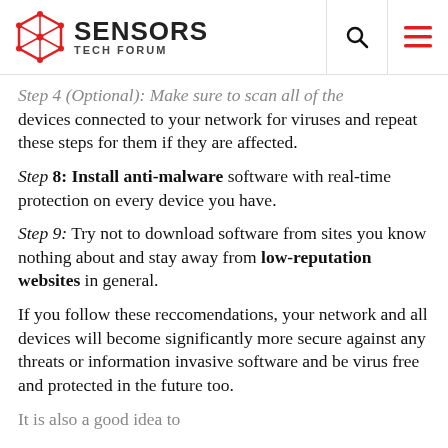Sensors Tech Forum
Step 4 (Optional): Make sure to scan all of the devices connected to your network for viruses and repeat these steps for them if they are affected.
Step 8: Install anti-malware software with real-time protection on every device you have.
Step 9: Try not to download software from sites you know nothing about and stay away from low-reputation websites in general.
If you follow these reccomendations, your network and all devices will become significantly more secure against any threats or information invasive software and be virus free and protected in the future too.
It is also a good idea...